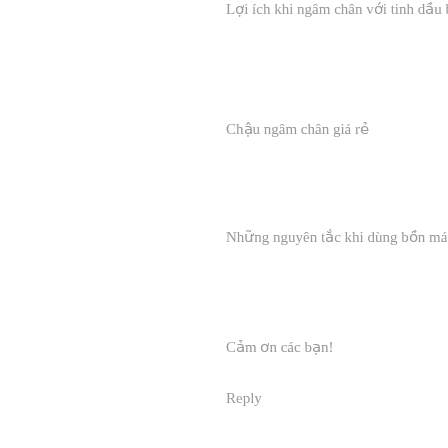Lợi ích khi ngâm chân với tinh dầu bưi hương
Chậu ngâm chân giá rẻ
Những nguyên tắc khi dùng bồn mát xa chân
Cảm ơn các bạn!
Reply